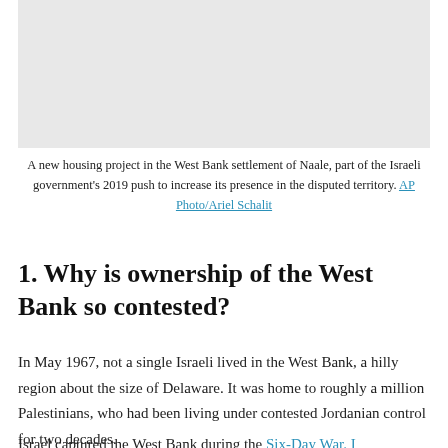[Figure (photo): A new housing project in the West Bank settlement of Naale, part of the Israeli government's 2019 push to increase its presence in the disputed territory.]
A new housing project in the West Bank settlement of Naale, part of the Israeli government's 2019 push to increase its presence in the disputed territory. AP Photo/Ariel Schalit
1. Why is ownership of the West Bank so contested?
In May 1967, not a single Israeli lived in the West Bank, a hilly region about the size of Delaware. It was home to roughly a million Palestinians, who had been living under contested Jordanian control for two decades.
Israel captured the West Bank during the Six-Day War. I